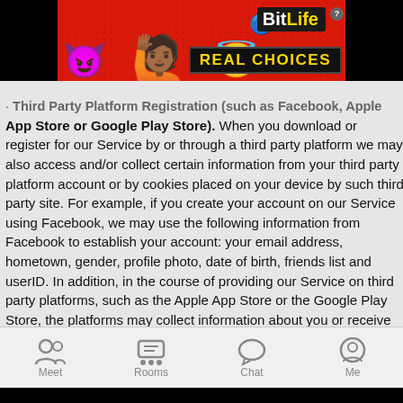[Figure (screenshot): BitLife app advertisement banner with emoji characters (devil, person with hands up, angel emoji) on red background, with BitLife logo and 'REAL CHOICES' tagline]
Third Party Platform Registration (such as Facebook, Apple App Store or Google Play Store). When you download or register for our Service by or through a third party platform we may also access and/or collect certain information from your third party platform account or by cookies placed on your device by such third party site. For example, if you create your account on our Service using Facebook, we may use the following information from Facebook to establish your account: your email address, hometown, gender, profile photo, date of birth, friends list and userID. In addition, in the course of providing our Service on third party platforms, such as the Apple App Store or the Google Play Store, the platforms may collect information about you or receive information from us in order for that platform to provide and analyze their services. Please note that these platforms are developed and administered by people or companies not affiliated with us or any of our Services and that we are not responsible for the actions of those people or companies. You should carefully review the terms of service and
[Figure (screenshot): Mobile app navigation bar with four items: Meet, Rooms, Chat, Me]